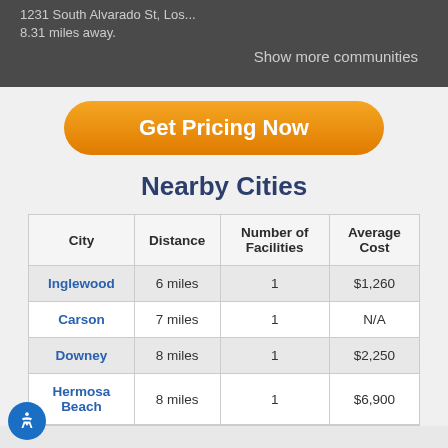1231 South Alvarado St, Los...
8.31 miles away.
Show more communities
Get Pricing Now
Nearby Cities
| City | Distance | Number of Facilities | Average Cost |
| --- | --- | --- | --- |
| Inglewood | 6 miles | 1 | $1,260 |
| Carson | 7 miles | 1 | N/A |
| Downey | 8 miles | 1 | $2,250 |
| Hermosa Beach | 8 miles | 1 | $6,900 |